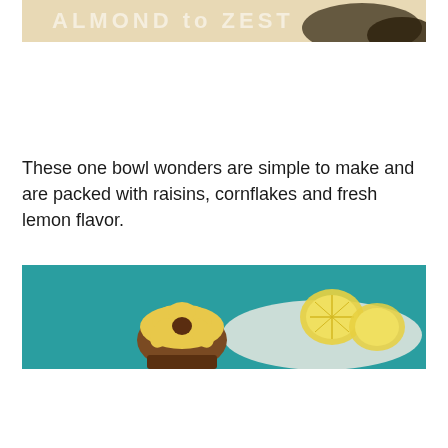[Figure (photo): Top banner image with text 'ALMOND to ZEST' overlaid on a light beige/cream background with a dark blurred shape]
These one bowl wonders are simple to make and are packed with raisins, cornflakes and fresh lemon flavor.
[Figure (photo): Photo of a cookie or baked good decorated with a flower shape on top, sitting on a teal/turquoise surface, with lemon slices visible in the background]